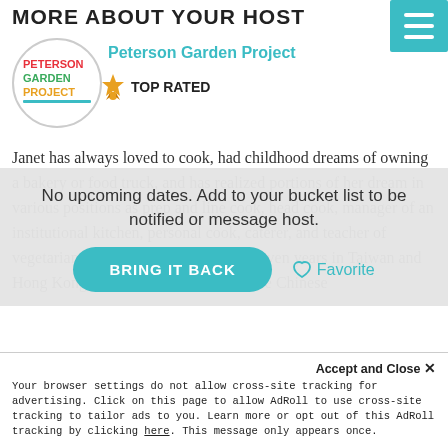MORE ABOUT YOUR HOST
[Figure (logo): Peterson Garden Project circular logo with colorful text]
Peterson Garden Project
TOP RATED
[Figure (other): Teal hamburger menu button with three white horizontal lines]
Janet has always loved to cook, had childhood dreams of owning a bakery or food truck, and has realized portions of her dream in various positions as prep and line cook, head cook, manager of an institutional kitchen, personal cook, caterer, and teacher of vegetarian cooking. Spending almost seven years in Taiwan and Hong Kong, she picked up a love for the Chinese
No upcoming dates. Add to your bucket list to be notified or message host.
BRING IT BACK
Favorite
Accept and Close ✕
Your browser settings do not allow cross-site tracking for advertising. Click on this page to allow AdRoll to use cross-site tracking to tailor ads to you. Learn more or opt out of this AdRoll tracking by clicking here. This message only appears once.